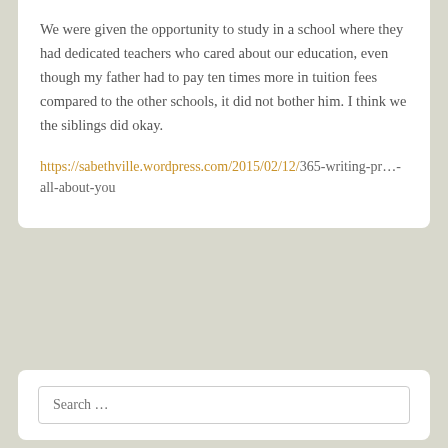We were given the opportunity to study in a school where they had dedicated teachers who cared about our education, even though my father had to pay ten times more in tuition fees compared to the other schools, it did not bother him. I think we the siblings did okay.
https://sabethville.wordpress.com/2015/02/12/365-writing-pr…-all-about-you